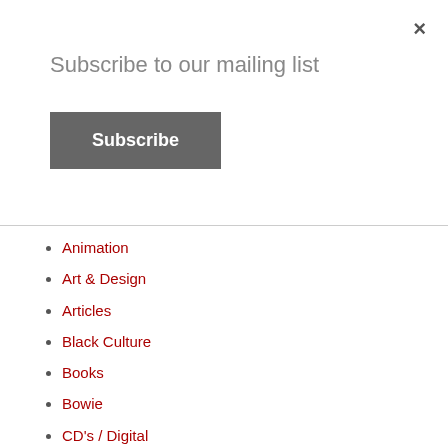×
Subscribe to our mailing list
Subscribe
Animation
Art & Design
Articles
Black Culture
Books
Bowie
CD's / Digital
Comics
Dance
Disco
DJ / Club Culture
DJ Appearances
Documentaries
DVD
Fashion